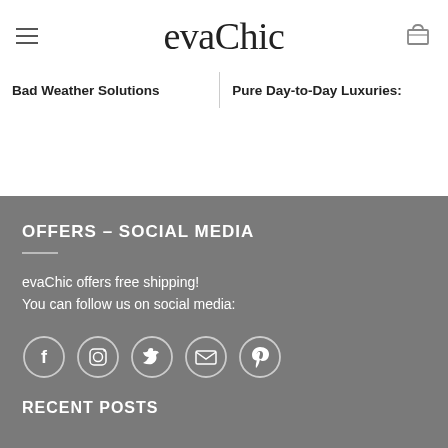evaChic
Bad Weather Solutions
Pure Day-to-Day Luxuries:
OFFERS – SOCIAL MEDIA
evaChic offers free shipping!
You can follow us on social media:
[Figure (infographic): Five social media icons in circles: Facebook, Instagram, Twitter, Email, Pinterest]
RECENT POSTS